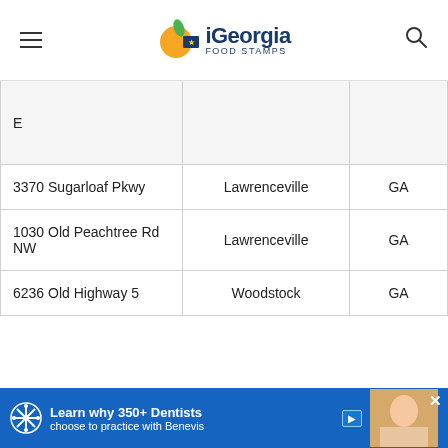iGeorgia Food Stamps
| Address | City | State |
| --- | --- | --- |
| E |  |  |
| 3370 Sugarloaf Pkwy | Lawrenceville | GA |
| 1030 Old Peachtree Rd NW | Lawrenceville | GA |
| 6236 Old Highway 5 | Woodstock | GA |
[Figure (screenshot): Advertisement banner: 'Learn why 350+ Dentists choose to practice with Benevis']